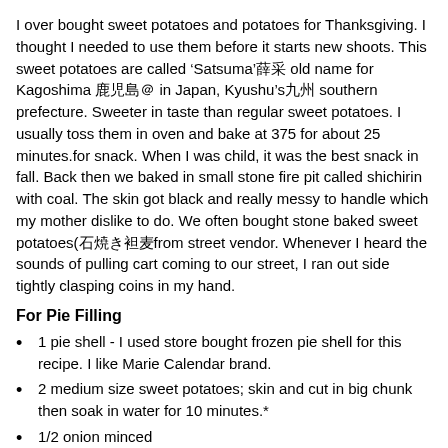I over bought sweet potatoes and potatoes for Thanksgiving. I thought I needed to use them before it starts new shoots. This sweet potatoes are called ‘Satsuma’薛采 old name for Kagoshima 鹿児島 in Japan, Kyushu’s九州 southern prefecture. Sweeter in taste than regular sweet potatoes. I usually toss them in oven and bake at 375 for about 25 minutes.for snack. When I was child, it was the best snack in fall. Back then we baked in small stone fire pit called shichirin with coal. The skin got black and really messy to handle which my mother dislike to do. We often bought stone baked sweet potatoes(石焼き袒麦from street vendor. Whenever I heard the sounds of pulling cart coming to our street, I ran out side tightly clasping coins in my hand.
For Pie Filling
1 pie shell - I used store bought frozen pie shell for this recipe. I like Marie Calendar brand.
2 medium size sweet potatoes; skin and cut in big chunk then soak in water for 10 minutes.*
1/2 onion minced